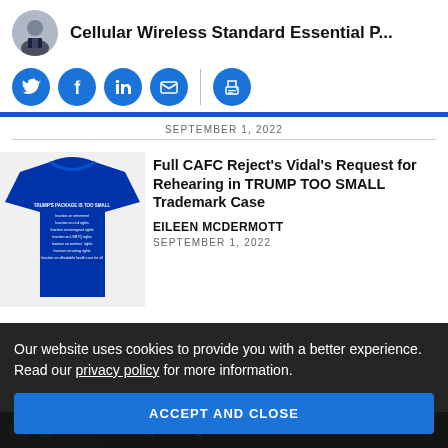Cellular Wireless Standard Essential P...
[Figure (infographic): Row of blue circular social media icon buttons: Twitter, Facebook, LinkedIn, Email, Print]
SEPTEMBER 1, 2022
[Figure (photo): Blue t-shirt with text 'TRUMP'S PACKAGE IS TOO SMALL' and list of rights items]
Full CAFC Reject's Vidal's Request for Rehearing in TRUMP TOO SMALL Trademark Case
EILEEN MCDERMOTT
SEPTEMBER 1, 2022
Our website uses cookies to provide you with a better experience. Read our privacy policy for more information.
ACCEPT AND CLOSE
Patently Strategic Podcast: From Alice to Axle